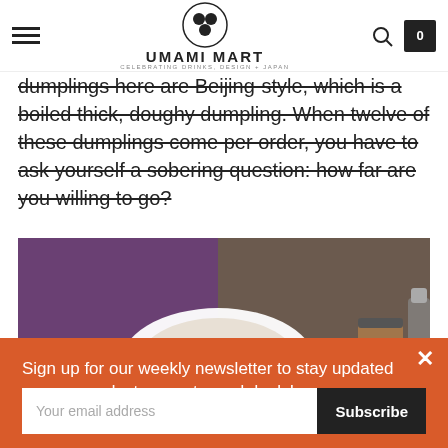Umami Mart — Celebrating Drinks, Design + Japan
dumplings here are Beijing-style, which is a boiled thick, doughy dumpling. When twelve of these dumplings come per order, you have to ask yourself a sobering question: how far are you willing to go?
[Figure (photo): Photo of dumplings on a plate with chopsticks, a cup of tea, and condiments on a blue checkered tablecloth, with a person in a purple shirt in the background.]
Sign up for our weekly newsletter to stay updated on new products, events, and deals!
Your email address
Subscribe